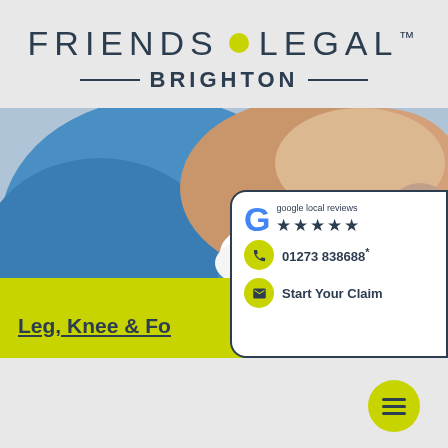[Figure (logo): Friends Legal Brighton logo with yellow dot separator and TM mark]
[Figure (photo): Medical photo showing a foot/leg with white bandage wrapping, blue medical garment in background]
Leg, Knee & Fo
[Figure (infographic): Google local reviews 5-star card with phone number 01273 838688 and Start Your Claim button]
[Figure (other): Yellow circular hamburger menu button in bottom right corner]